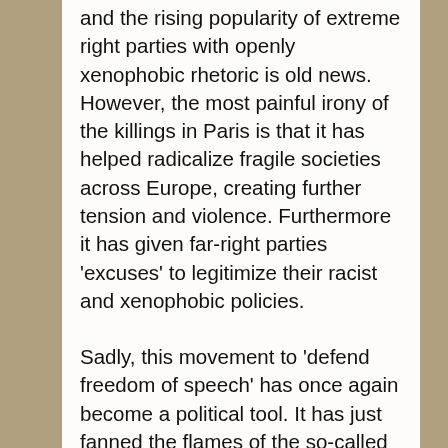and the rising popularity of extreme right parties with openly xenophobic rhetoric is old news. However, the most painful irony of the killings in Paris is that it has helped radicalize fragile societies across Europe, creating further tension and violence. Furthermore it has given far-right parties 'excuses' to legitimize their racist and xenophobic policies.
Sadly, this movement to 'defend freedom of speech' has once again become a political tool. It has just fanned the flames of the so-called 'war on terror'. Several countries are using this to increase security measures and reduce privacy. The UK and Australia are the clearest examples. David Cameron has called for additional powers in response to the attacks in Paris, despite the fact that the authorities already had the attackers on their books under the current regulations. In a speech given three weeks